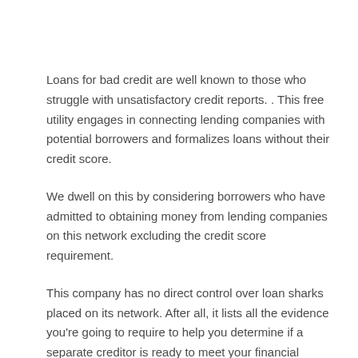Loans for bad credit are well known to those who struggle with unsatisfactory credit reports. . This free utility engages in connecting lending companies with potential borrowers and formalizes loans without their credit score.
We dwell on this by considering borrowers who have admitted to obtaining money from lending companies on this network excluding the credit score requirement.
This company has no direct control over loan sharks placed on its network. After all, it lists all the evidence you're going to require to help you determine if a separate creditor is ready to meet your financial needs.
Characteristics